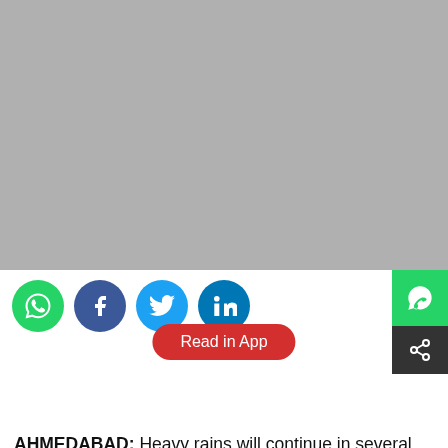[Figure (photo): Large grey placeholder image filling the top portion of the page]
[Figure (infographic): Social sharing icons row: WhatsApp (green), Facebook (dark blue), Twitter (light blue), LinkedIn (blue). Read in App red pill button overlaid. Right side: WhatsApp green icon and dark share icon.]
AHMEDABAD: Heavy rains will continue in several parts of Gujarat including the Saurashtra, Kutch, Chhota Udepur and Panchmahal regions on Wednesday. Ahmedabad and Vadodara will also receive heavy rains. The India Meteorological Department (IMD) predicted rainy days in the